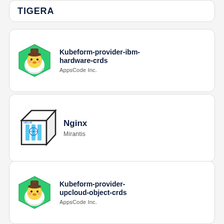[Figure (logo): Partial Tigera card showing TIGERA text logo at top of page]
[Figure (logo): Kubeform provider IBM hardware CRDs card with AppsCode chick mascot in green hexagon]
Kubeform-provider-ibm-hardware-crds
AppsCode Inc.
[Figure (logo): Nginx card with Helm cube logo]
Nginx
Mirantis
[Figure (logo): Kubeform provider upcloud object CRDs card with AppsCode chick mascot in green hexagon]
Kubeform-provider-upcloud-object-crds
AppsCode Inc.